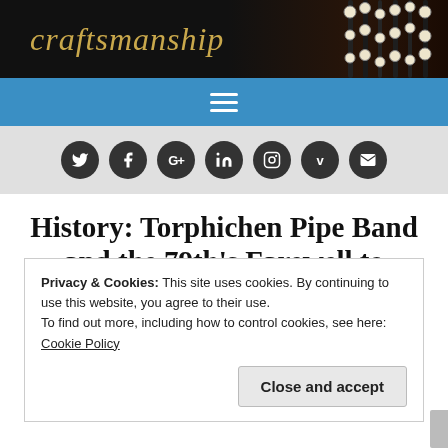[Figure (photo): Dark header banner with italic gold text 'craftsmanship' and bagpipe image on right]
Navigation bar with hamburger menu icon
Social media icons bar: Twitter, Facebook, Google+, LinkedIn, Instagram, Vimeo, Email
History: Torphichen Pipe Band and the 79th's Farewell to Gibraltar
Posted on 7th January 2020  2 Comments
Privacy & Cookies: This site uses cookies. By continuing to use this website, you agree to their use.
To find out more, including how to control cookies, see here: Cookie Policy